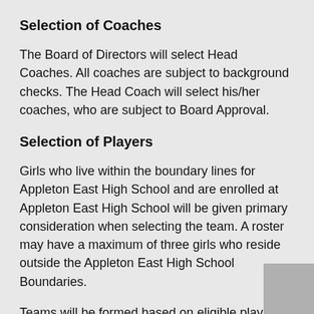Selection of Coaches
The Board of Directors will select Head Coaches. All coaches are subject to background checks. The Head Coach will select his/her coaches, who are subject to Board Approval.
Selection of Players
Girls who live within the boundary lines for Appleton East High School and are enrolled at Appleton East High School will be given primary consideration when selecting the team. A roster may have a maximum of three girls who reside outside the Appleton East High School Boundaries.
Teams will be formed based on eligible players who submit a tryout form and attend sanctioned team tryouts. Players will be graded by members of both the